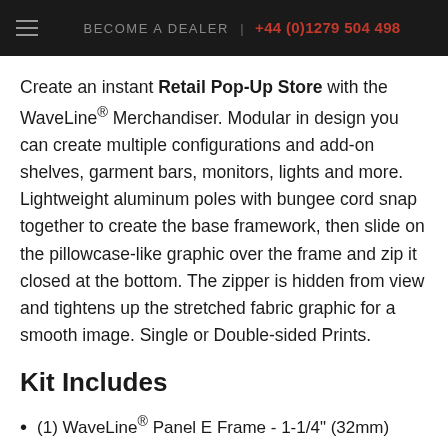BECOME A DEALER | +44 (0)1279 504 498
Create an instant Retail Pop-Up Store with the WaveLine® Merchandiser. Modular in design you can create multiple configurations and add-on shelves, garment bars, monitors, lights and more. Lightweight aluminum poles with bungee cord snap together to create the base framework, then slide on the pillowcase-like graphic over the frame and zip it closed at the bottom. The zipper is hidden from view and tightens up the stretched fabric graphic for a smooth image. Single or Double-sided Prints.
Kit Includes
(1) WaveLine® Panel E Frame - 1-1/4" (32mm)